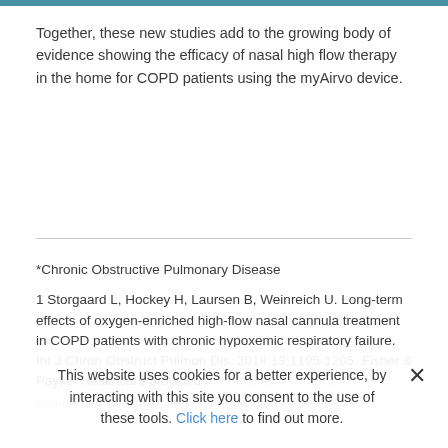Together, these new studies add to the growing body of evidence showing the efficacy of nasal high flow therapy in the home for COPD patients using the myAirvo device.
*Chronic Obstructive Pulmonary Disease
1 Storgaard L, Hockey H, Laursen B, Weinreich U. Long-term effects of oxygen-enriched high-flow nasal cannula treatment in COPD patients with chronic hypoxemic respiratory failure. Int J Chron Obstruct Pulmon Dis. 2018;13:1195-1205. Fisher & Paykel Healthcare provided
This website uses cookies for a better experience, by interacting with this site you consent to the use of these tools. Click here to find out more.